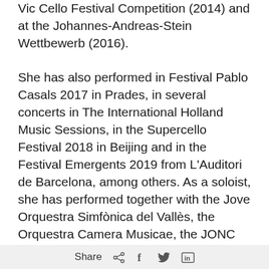Vic Cello Festival Competition (2014) and at the Johannes-Andreas-Stein Wettbewerb (2016).
She has also performed in Festival Pablo Casals 2017 in Prades, in several concerts in The International Holland Music Sessions, in the Supercello Festival 2018 in Beijing and in the Festival Emergents 2019 from L'Auditori de Barcelona, among others. As a soloist, she has performed together with the Jove Orquestra Simfònica del Vallès, the Orquestra Camera Musicae, the JONC Filharmonia, the Bruckner Akademie Orchester and the
Share